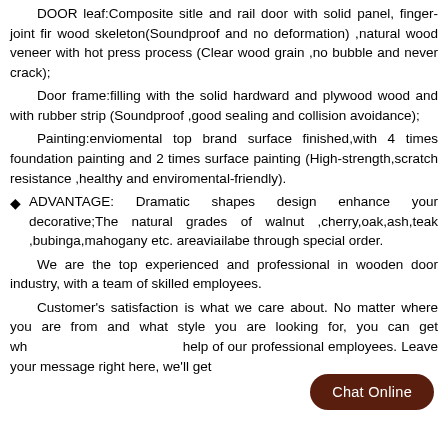DOOR leaf:Composite sitle and rail door with solid panel, finger-joint fir wood skeleton(Soundproof and no deformation) ,natural wood veneer with hot press process (Clear wood grain ,no bubble and never crack);
Door frame:filling with the solid hardward and plywood wood and with rubber strip (Soundproof ,good sealing and collision avoidance);
Painting:enviomental top brand surface finished,with 4 times foundation painting and 2 times surface painting (High-strength,scratch resistance ,healthy and enviromental-friendly).
ADVANTAGE: Dramatic shapes design enhance your decorative;The natural grades of walnut ,cherry,oak,ash,teak ,bubinga,mahogany etc. areaviailabe through special order.
We are the top experienced and professional in wooden door industry, with a team of skilled employees.
Customer's satisfaction is what we care about. No matter where you are from and what style you are looking for, you can get wh help of our professional employees. Leave your message right here, we'll get